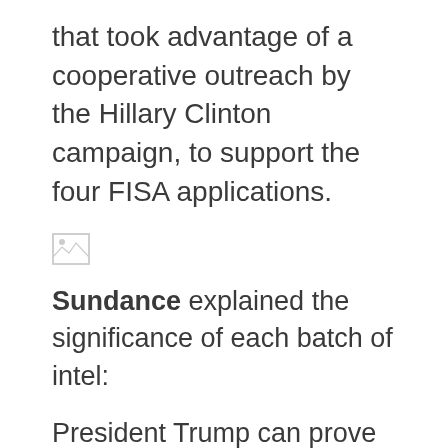that took advantage of a cooperative outreach by the Hillary Clinton campaign, to support the four FISA applications.
[Figure (other): Broken image placeholder icon]
Sundance explained the significance of each batch of intel:
President Trump can prove the July 31st, 2016, Crossfire Hurricane counterintelligence operation originated from a scheme within the intelligence